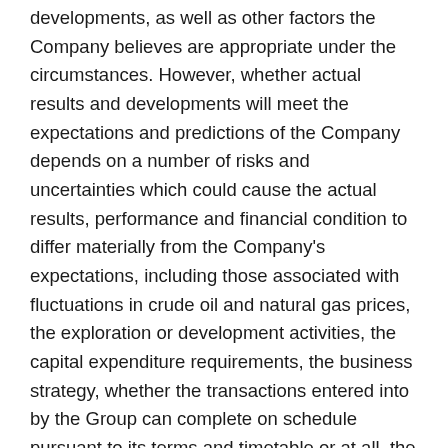developments, as well as other factors the Company believes are appropriate under the circumstances. However, whether actual results and developments will meet the expectations and predictions of the Company depends on a number of risks and uncertainties which could cause the actual results, performance and financial condition to differ materially from the Company's expectations, including those associated with fluctuations in crude oil and natural gas prices, the exploration or development activities, the capital expenditure requirements, the business strategy, whether the transactions entered into by the Group can complete on schedule pursuant to its terms and timetable or at all, the highly competitive nature of the oil and natural gas industries, the foreign operations, environmental liabilities and compliance requirements, and economic and political conditions in the People's Republic of China. For a description of these and other risks and uncertainties, please see the documents the Company files from time to time with the United States